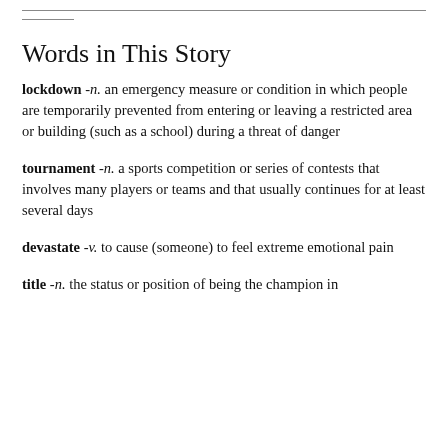Words in This Story
lockdown - n. an emergency measure or condition in which people are temporarily prevented from entering or leaving a restricted area or building (such as a school) during a threat of danger
tournament - n. a sports competition or series of contests that involves many players or teams and that usually continues for at least several days
devastate - v. to cause (someone) to feel extreme emotional pain
title - n. the status or position of being the champion in